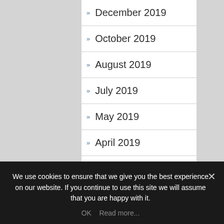December 2019
October 2019
August 2019
July 2019
May 2019
April 2019
March 2019
We use cookies to ensure that we give you the best experience on our website. If you continue to use this site we will assume that you are happy with it.
OK   Read more...